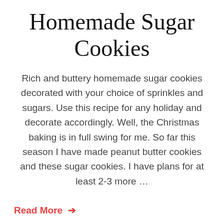Homemade Sugar Cookies
Rich and buttery homemade sugar cookies decorated with your choice of sprinkles and sugars. Use this recipe for any holiday and decorate accordingly. Well, the Christmas baking is in full swing for me. So far this season I have made peanut butter cookies and these sugar cookies. I have plans for at least 2-3 more …
Read More →